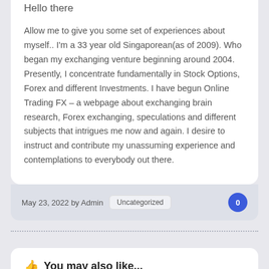Hello there
Allow me to give you some set of experiences about myself.. I'm a 33 year old Singaporean(as of 2009). Who began my exchanging venture beginning around 2004. Presently, I concentrate fundamentally in Stock Options, Forex and different Investments. I have begun Online Trading FX – a webpage about exchanging brain research, Forex exchanging, speculations and different subjects that intrigues me now and again. I desire to instruct and contribute my unassuming experience and contemplations to everybody out there.
May 23, 2022 by Admin  Uncategorized  0
You may also like...